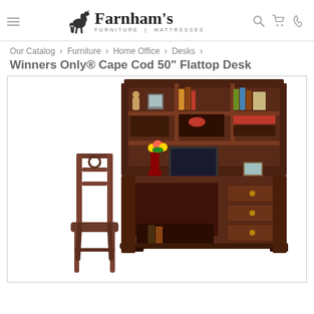Farnham's Furniture | Mattresses
Our Catalog › Furniture › Home Office › Desks ›
Winners Only® Cape Cod 50" Flattop Desk
[Figure (photo): Product photo showing a dark brown wooden desk with hutch (bookshelf top), keyboard tray, and multiple drawers, along with a matching wooden chair placed to the left. The desk has items on it including a monitor, flowers, books, and decorative objects.]